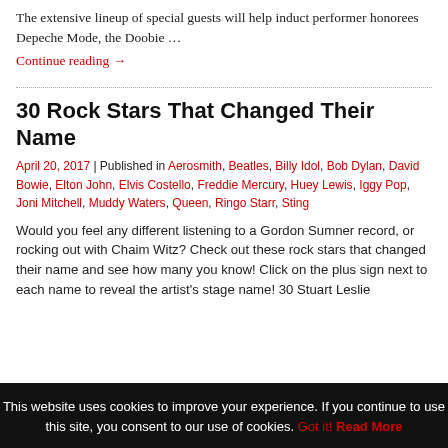The extensive lineup of special guests will help induct performer honorees Depeche Mode, the Doobie …
Continue reading →
30 Rock Stars That Changed Their Name
April 20, 2017 | Published in Aerosmith, Beatles, Billy Idol, Bob Dylan, David Bowie, Elton John, Elvis Costello, Freddie Mercury, Huey Lewis, Iggy Pop, Joni Mitchell, Muddy Waters, Queen, Ringo Starr, Sting
Would you feel any different listening to a Gordon Sumner record, or rocking out with Chaim Witz? Check out these rock stars that changed their name and see how many you know! Click on the plus sign next to each name to reveal the artist's stage name! 30 Stuart Leslie
This website uses cookies to improve your experience. If you continue to use this site, you consent to our use of cookies. Got it! Read More